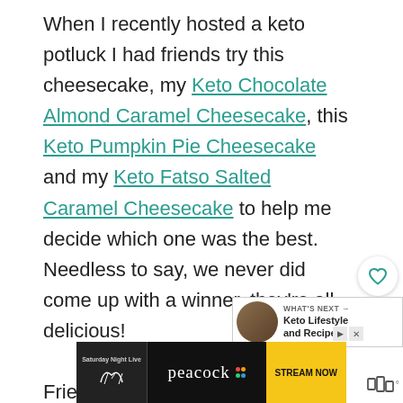When I recently hosted a keto potluck I had friends try this cheesecake, my Keto Chocolate Almond Caramel Cheesecake, this Keto Pumpkin Pie Cheesecake and my Keto Fatso Salted Caramel Cheesecake to help me decide which one was the best. Needless to say, we never did come up with a winner, they're all delicious! Friends who are not following a keto lifestyle would never know that this is a low carb
[Figure (screenshot): What's Next widget showing a thumbnail image of food and text: WHAT'S NEXT -> Keto Lifestyle and Recipes]
[Figure (screenshot): Advertisement banner for Peacock streaming service featuring Saturday Night Live. Shows SNL logo on left, Peacock logo in center with colorful dots, and STREAM NOW button in yellow on right.]